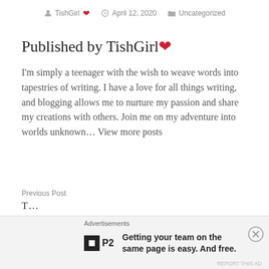TishGirl ❤  April 12, 2020  Uncategorized
Published by TishGirl ❤
I'm simply a teenager with the wish to weave words into tapestries of writing. I have a love for all things writing, and blogging allows me to nurture my passion and share my creations with others. Join me on my adventure into worlds unknown… View more posts
Previous Post
Advertisements
Getting your team on the same page is easy. And free.